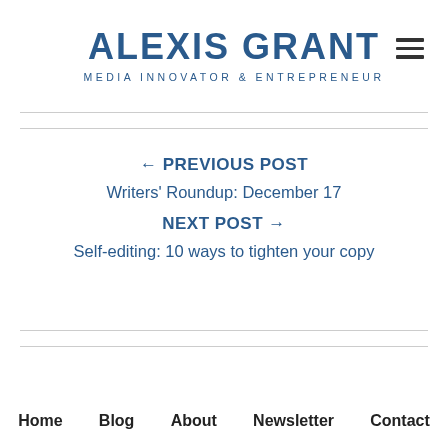ALEXIS GRANT
MEDIA INNOVATOR & ENTREPRENEUR
← PREVIOUS POST
Writers' Roundup: December 17
NEXT POST →
Self-editing: 10 ways to tighten your copy
Home   Blog   About   Newsletter   Contact